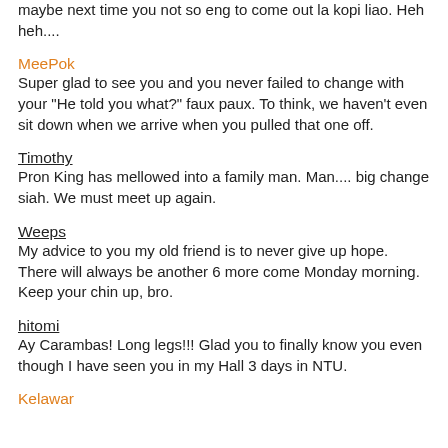maybe next time you not so eng to come out la kopi liao. Heh heh....
MeePok
Super glad to see you and you never failed to change with your "He told you what?" faux paux. To think, we haven't even sit down when we arrive when you pulled that one off.
Timothy
Pron King has mellowed into a family man. Man.... big change siah. We must meet up again.
Weeps
My advice to you my old friend is to never give up hope. There will always be another 6 more come Monday morning. Keep your chin up, bro.
hitomi
Ay Carambas! Long legs!!! Glad you to finally know you even though I have seen you in my Hall 3 days in NTU.
Kelawar